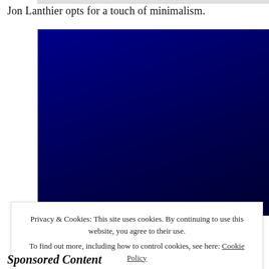Jon Lanthier opts for a touch of minimalism.
[Figure (photo): Dark navy blue rectangle, appears to be a video or image embed placeholder with a very dark blue/navy background.]
Privacy & Cookies: This site uses cookies. By continuing to use this website, you agree to their use.
To find out more, including how to control cookies, see here: Cookie Policy
Close and accept
Sponsored Content